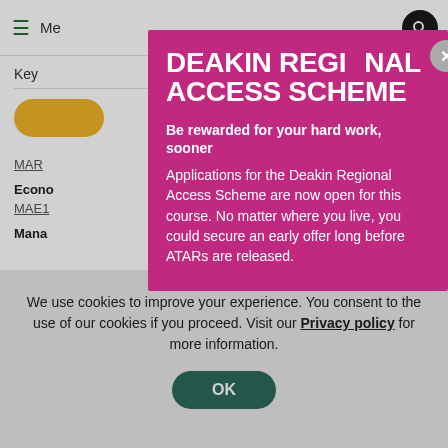Me [navigation bar with hamburger menu and search icon]
Key
[Figure (screenshot): Background page showing course listing with yellow button, outline button, course code text (MAR...), bold label (Econo...), course code (MAE1...), and bold label (Mana...)]
DEAKIN REGIONAL ACCESS SCHEME
Be rewarded for your hard work, sooner
Applications for the Deakin Regional Access Scheme are now open for this course. No matter where you live, you could secure an early offer long before ATARs are released.
We use cookies to improve your experience. You consent to the use of our cookies if you proceed. Visit our Privacy policy for more information.
OK